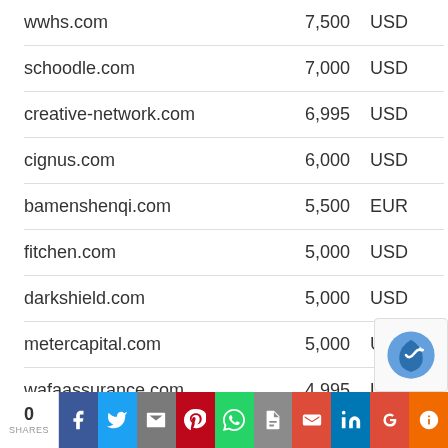| Domain | Amount | Currency |
| --- | --- | --- |
| wwhs.com | 7,500 | USD |
| schoodle.com | 7,000 | USD |
| creative-network.com | 6,995 | USD |
| cignus.com | 6,000 | USD |
| bamenshenqi.com | 5,500 | EUR |
| fitchen.com | 5,000 | USD |
| darkshield.com | 5,000 | USD |
| metercapital.com | 5,000 | USD |
| wafaassurance.com | 4,995 | USD |